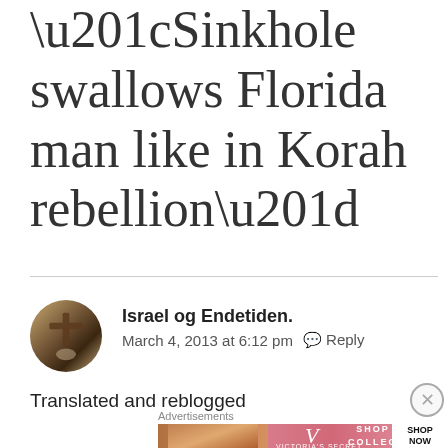“Sinkhole swallows Florida man like in Korah rebellion”
Israel og Endetiden.
March 4, 2013 at 6:12 pm   Reply
Translated and reblogged
[Figure (advertisement): Victoria's Secret advertisement banner: SHOP THE COLLECTION / SHOP NOW]
Advertisements